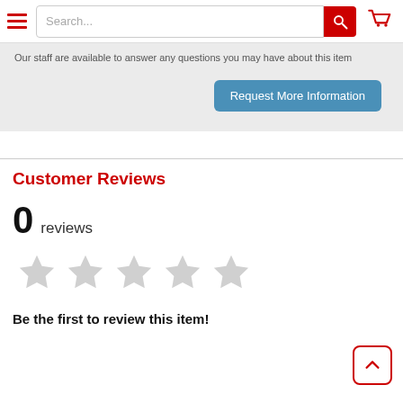Search...
Our staff are available to answer any questions you may have about this item
Request More Information
Customer Reviews
0 reviews
[Figure (illustration): Five empty/grey star rating icons in a row]
Be the first to review this item!